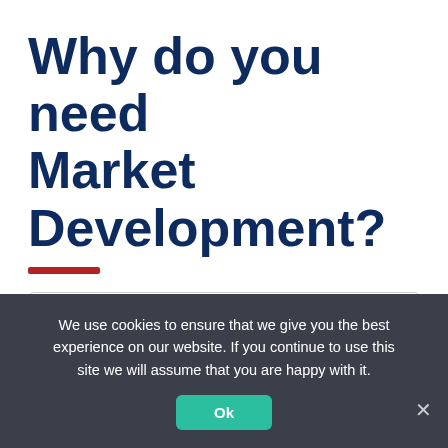Why do you need Market Development?
| Table of Contents |
| --- |
| 1. Why do you need Market Development? |
|   ◆  1.0.1. To grow through Market Diversification |
|   1.0.2. To Sell your Business |
|   1.1. Our Market Development Division |
|   1.2. A Variable Cost to you |
|   1.3. Our Process |
We use cookies to ensure that we give you the best experience on our website. If you continue to use this site we will assume that you are happy with it.